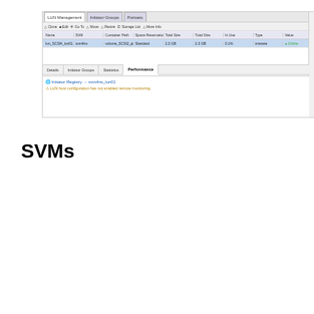[Figure (screenshot): LUN Management interface screenshot showing LUN Groups and Portsets tabs, with a LUN listed (lun_SCSI4_lun01) and a detail panel below showing related Initiator Groups and a warning about no host configured for remote monitoring. Tabs at the bottom include Details, Initiator Groups, Statistics, and Performance (active).]
SVMs
[Figure (screenshot): NetApp ONTAP OnCommand System Manager screenshot showing the SVMs panel with two SVM entries (SVM1 and SVM2, both running, default subnet, Default IPspace, Flexclone volume type, unmounted) and a details panel at the bottom showing Details (Protocol: NFS, Active protocols (NFS): how ONTAP_NFS (active), Assigned to nodes: 2 NW 3.01, Snapshot policy: default, NFS service: true, CIFS share: true, Language: C.UTF-8) and a File/Storage FVS at Start View table with columns Name, IP Owner, Status, and Applications. A red arrow points to the toolbar area.]